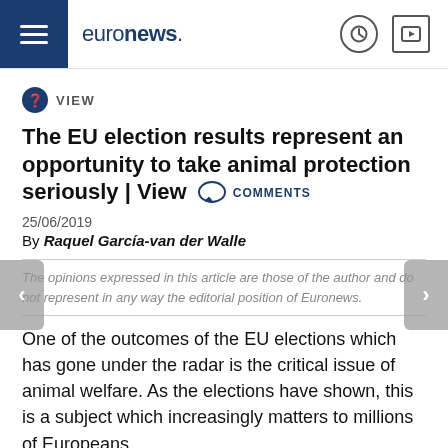euronews.
VIEW
The EU election results represent an opportunity to take animal protection seriously | View  COMMENTS
25/06/2019
By Raquel García-van der Walle
The opinions expressed in this article are those of the author and do not represent in any way the editorial position of Euronews.
One of the outcomes of the EU elections which has gone under the radar is the critical issue of animal welfare. As the elections have shown, this is a subject which increasingly matters to millions of Europeans